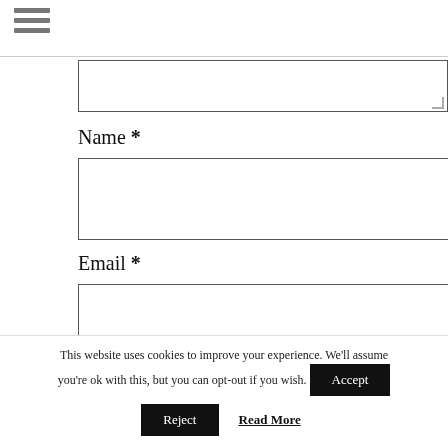[Figure (other): Hamburger menu icon (three horizontal lines)]
Name *
Email *
Website
This website uses cookies to improve your experience. We'll assume you're ok with this, but you can opt-out if you wish.
Accept
Reject
Read More